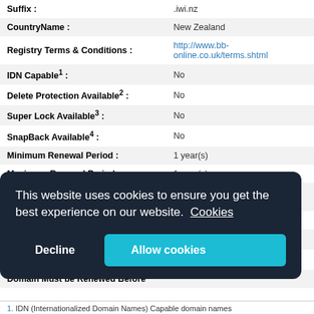| Field | Value |
| --- | --- |
| Suffix : | .iwi.nz |
| CountryName : | New Zealand |
| Registry Terms & Conditions : | http://www.bb-online.co.uk/terms.shtml |
| IDN Capable¹ : | No |
| Delete Protection Available² : | No |
| Super Lock Available³ : | No |
| SnapBack Available⁴ : | No |
| Minimum Renewal Period : | 1 year(s) |
| Maximum Renewal Period : | 1 year(s) |
| Default Renewal Period for New Registrations : | 1 year(s) |
| Positive Renewal Required : | No |
| Grace Period⁵ : | 5 day(s) |
| Autorenew Grace Period⁶ : | 15 day(s) |
| Domain Must be Renewed Before |  |
This website uses cookies to ensure you get the best experience on our website. Cookies
Decline
Allow cookies
1. IDN (Internationalized Domain Names) Capable domain names